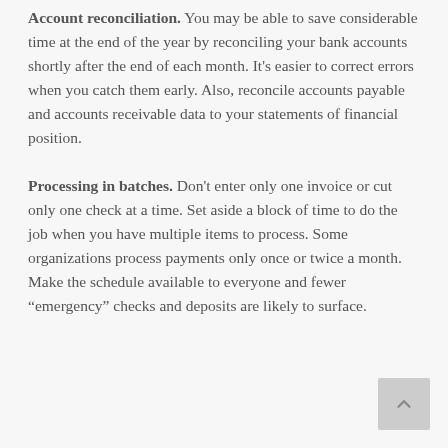Account reconciliation. You may be able to save considerable time at the end of the year by reconciling your bank accounts shortly after the end of each month. It's easier to correct errors when you catch them early. Also, reconcile accounts payable and accounts receivable data to your statements of financial position.
Processing in batches. Don't enter only one invoice or cut only one check at a time. Set aside a block of time to do the job when you have multiple items to process. Some organizations process payments only once or twice a month. Make the schedule available to everyone and fewer “emergency” checks and deposits are likely to surface.